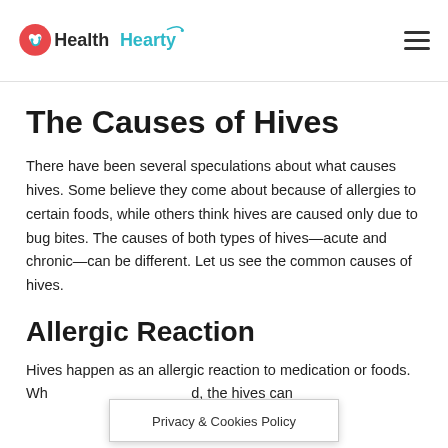HealthHearty
The Causes of Hives
There have been several speculations about what causes hives. Some believe they come about because of allergies to certain foods, while others think hives are caused only due to bug bites. The causes of both types of hives—acute and chronic—can be different. Let us see the common causes of hives.
Allergic Reaction
Hives happen as an allergic reaction to medication or foods. Wh[en food is consumed, the hives can appear in reaction of food...
Privacy & Cookies Policy